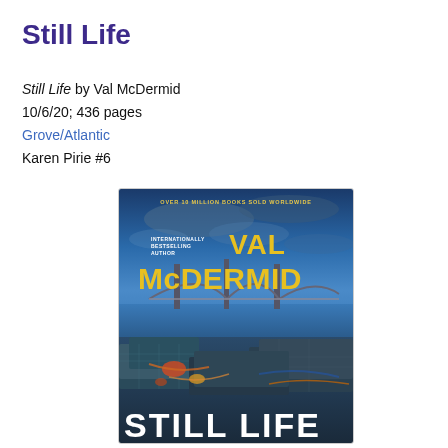Still Life
Still Life by Val McDermid
10/6/20; 436 pages
Grove/Atlantic
Karen Pirie #6
[Figure (illustration): Book cover of 'Still Life' by Val McDermid showing the Forth Bridge in Scotland with lobster pots in the foreground, bold yellow title text and author name, dark blue dramatic sky background.]